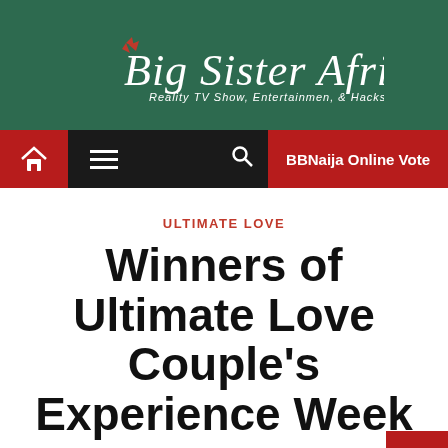[Figure (logo): Big Sister Africa News logo with red stars/sparks, italic serif white text on dark green background, subtitle: Reality TV Show, Entertainmen, & Hacks]
[Figure (screenshot): Navigation bar: red home icon button, hamburger menu, search icon, red BBNaija Online Vote button on black background]
ULTIMATE LOVE
Winners of Ultimate Love Couple's Experience Week 2